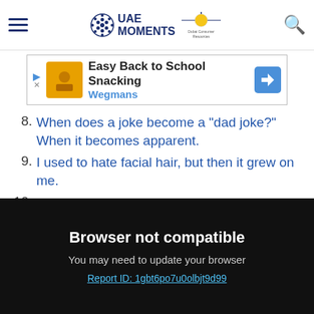UAE Moments
[Figure (screenshot): Advertisement banner: Easy Back to School Snacking - Wegmans]
8. When does a joke become a 'dad joke?' When it becomes apparent.
9. I used to hate facial hair, but then it grew on me.
10. Sundays are always a little sad, but the day before is a sadder day.
11. 5/4 of people admit they're bad at fractions.
Browser not compatible
You may need to update your browser
Report ID: 1gbt6po7u0olbjt9d99